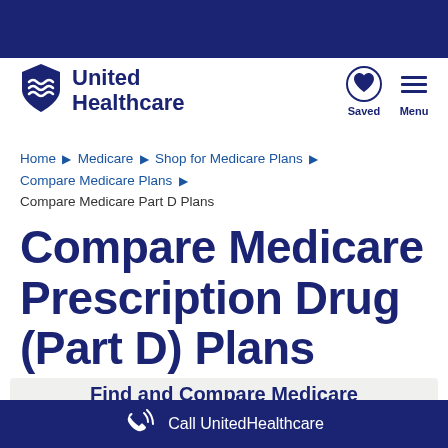[Figure (logo): UnitedHealthcare logo with shield emblem and text 'United Healthcare']
[Figure (illustration): Saved icon (heart) and Menu icon (hamburger) in top right navigation]
Home ▶ Medicare ▶ Shop for Medicare Plans ▶ Compare Medicare Plans ▶ Compare Medicare Part D Plans
Compare Medicare Prescription Drug (Part D) Plans
Find and Compare Medicare Prescription Drug Plans for
Call UnitedHealthcare